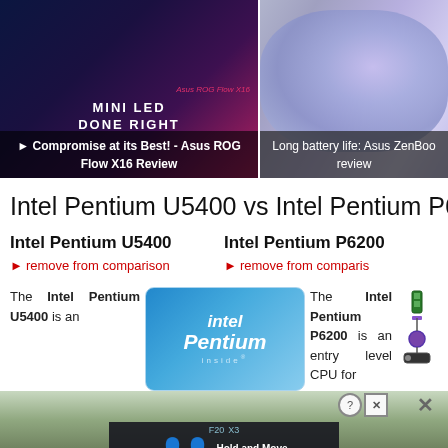[Figure (screenshot): Video thumbnail: Asus ROG Flow X16 Review - Compromise at its Best!, showing a person holding a laptop with MINI LED DONE RIGHT text overlay]
▶ Compromise at its Best! - Asus ROG Flow X16 Review
[Figure (screenshot): Video thumbnail: Long battery life: Asus ZenBoo review, showing a laptop with abstract colorful wallpaper]
Long battery life: Asus ZenBoo review
Intel Pentium U5400 vs Intel Pentium P620
Intel Pentium U5400
Intel Pentium P6200
▶ remove from comparison
▶ remove from comparison
[Figure (logo): Intel Pentium Inside logo badge with blue gradient background]
The Intel Pentium U5400 is an
The Intel Pentium P6200 is an entry level CPU for